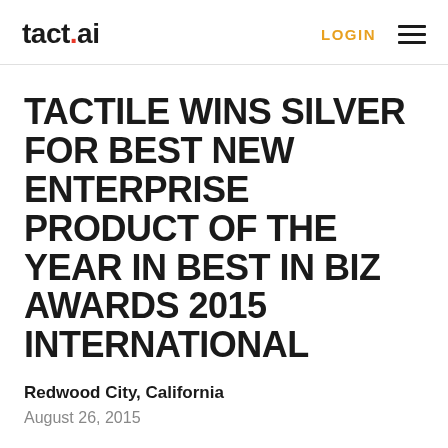tact.ai  LOGIN ≡
TACTILE WINS SILVER FOR BEST NEW ENTERPRISE PRODUCT OF THE YEAR IN BEST IN BIZ AWARDS 2015 INTERNATIONAL
Redwood City, California
August 26, 2015
SHARE THIS